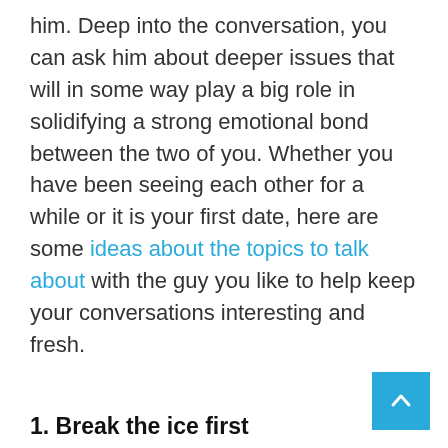him. Deep into the conversation, you can ask him about deeper issues that will in some way play a big role in solidifying a strong emotional bond between the two of you. Whether you have been seeing each other for a while or it is your first date, here are some ideas about the topics to talk about with the guy you like to help keep your conversations interesting and fresh.
1. Break the ice first